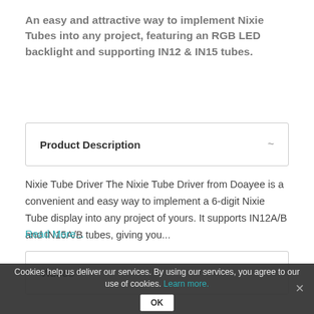An easy and attractive way to implement Nixie Tubes into any project, featuring an RGB LED backlight and supporting IN12 & IN15 tubes.
Product Description
Nixie Tube Driver The Nixie Tube Driver from Doayee is a convenient and easy way to implement a 6-digit Nixie Tube display into any project of yours. It supports IN12A/B and IN15A/B tubes, giving you...
Read More...
Videos
Cookies help us deliver our services. By using our services, you agree to our use of cookies. Learn more.